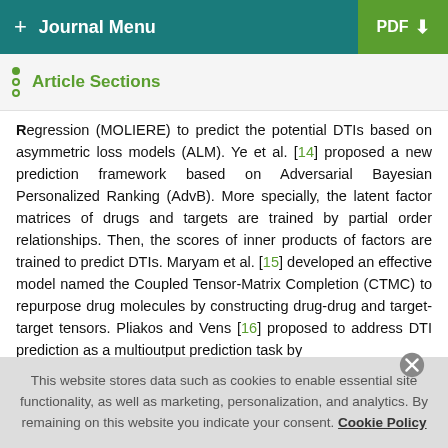+ Journal Menu   PDF ↓
Article Sections
Regression (MOLIERE) to predict the potential DTIs based on asymmetric loss models (ALM). Ye et al. [14] proposed a new prediction framework based on Adversarial Bayesian Personalized Ranking (AdvB). More specially, the latent factor matrices of drugs and targets are trained by partial order relationships. Then, the scores of inner products of factors are trained to predict DTIs. Maryam et al. [15] developed an effective model named the Coupled Tensor-Matrix Completion (CTMC) to repurpose drug molecules by constructing drug-drug and target-target tensors. Pliakos and Vens [16] proposed to address DTI prediction as a multioutput prediction task by
This website stores data such as cookies to enable essential site functionality, as well as marketing, personalization, and analytics. By remaining on this website you indicate your consent. Cookie Policy